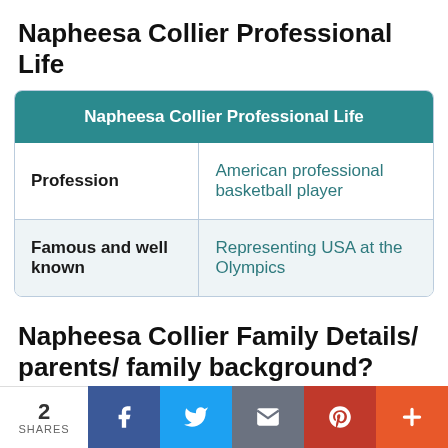Napheesa Collier Professional Life
| Napheesa Collier Professional Life |
| --- |
| Profession | American professional basketball player |
| Famous and well known | Representing USA at the Olympics |
Napheesa Collier Family Details/ parents/ family background?